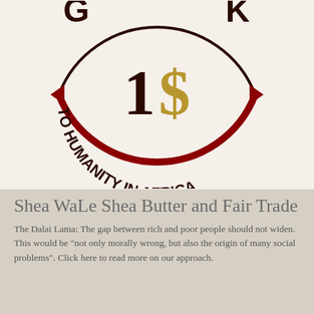[Figure (logo): Circular logo with dark red arrows forming a cycle around a center showing '1$' (bold dark brown '1' and gold '$' sign). Around the circle in bold dark brown uppercase letters: 'G...K' at top (partially visible) and 'TO HUMANITY IN AFRICA' along the bottom arc. Dark red arrow pointing left on the left side, dark red arrow on the right side.]
Shea WaLe Shea Butter and Fair Trade
The Dalai Lama: The gap between rich and poor people should not widen. This would be "not only morally wrong, but also the origin of many social problems". Click here to read more on our approach.